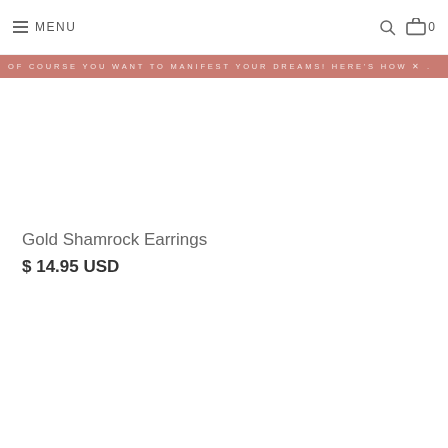MENU
OF COURSE YOU WANT TO MANIFEST YOUR DREAMS! HERE'S HOW...
Gold Shamrock Earrings
$ 14.95 USD